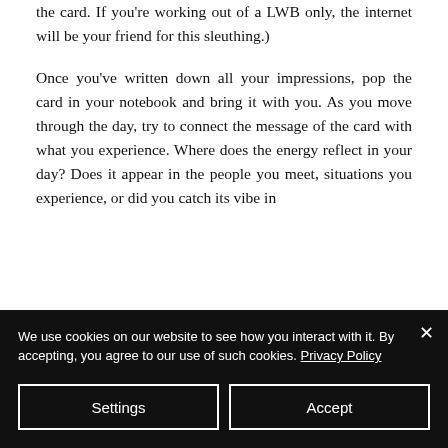the card. If you're working out of a LWB only, the internet will be your friend for this sleuthing.)
Once you've written down all your impressions, pop the card in your notebook and bring it with you. As you move through the day, try to connect the message of the card with what you experience. Where does the energy reflect in your day? Does it appear in the people you meet, situations you experience, or did you catch its vibe in
We use cookies on our website to see how you interact with it. By accepting, you agree to our use of such cookies. Privacy Policy
Settings
Accept